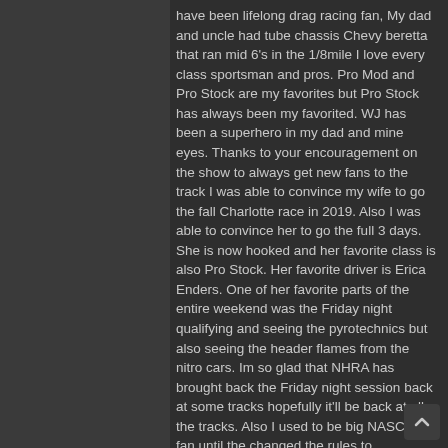have been lifelong drag racing fan, My dad and uncle had tube chassis Chevy beretta that ran mid 6's in the 1/8mile I love every class sportsman and pros. Pro Mod and Pro Stock are my favorites but Pro Stock has always been my favorited. WJ has been a superhero in my dad and mine eyes. Thanks to your encouragement on the show to always get new fans to the track I was able to convince my wife to go the fall Charlotte race in 2019. Also I was able to convince her to go the full 3 days. She is now hooked and her favorite class is also Pro Stock. Her favorite driver is Erica Enders. One of her favorite parts of the entire weekend was the Friday night qualifying and seeing the pyrotechnics but also seeing the header flames from the nitro cars. Im so glad that NHRA has brought back the Friday night session back at some tracks hopefully it'll be back at all the tracks. Also I used to be big NASCAR fan until the changed the rules to